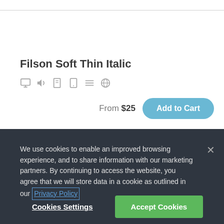Filson Soft Thin Italic
From $25
Add to Cart
We use cookies to enable an improved browsing experience, and to share information with our marketing partners. By continuing to access the website, you agree that we will store data in a cookie as outlined in our Privacy Policy
Cookies Settings
Accept Cookies